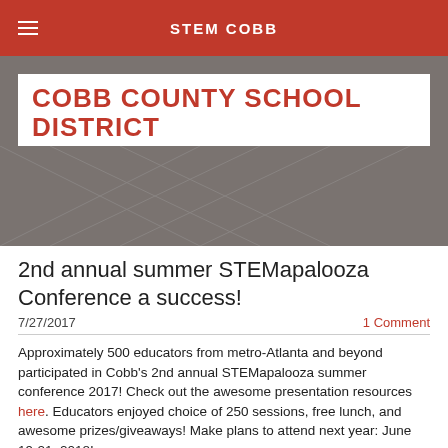STEM COBB
[Figure (photo): Cobb County School District banner image with dark gray background and white banner reading 'COBB COUNTY SCHOOL DISTRICT' in bold red text]
2nd annual summer STEMapalooza Conference a success!
7/27/2017
1 Comment
Approximately 500 educators from metro-Atlanta and beyond participated in Cobb's 2nd annual STEMapalooza summer conference 2017! Check out the awesome presentation resources here. Educators enjoyed choice of 250 sessions, free lunch, and awesome prizes/giveaways! Make plans to attend next year: June 19-21, 2018!